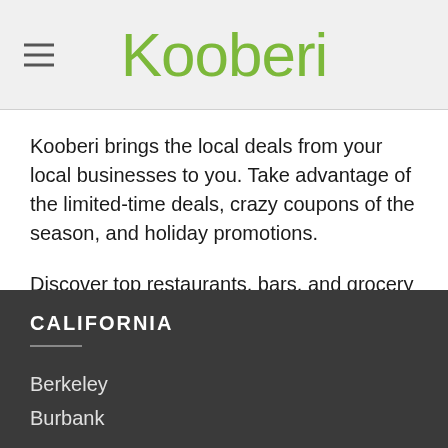Kooberi
Kooberi brings the local deals from your local businesses to you. Take advantage of the limited-time deals, crazy coupons of the season, and holiday promotions.
Discover top restaurants, bars, and grocery coupons on the best coupon app. Get great deals, discounts, and coupons at your fingertips.
CALIFORNIA
Berkeley
Burbank